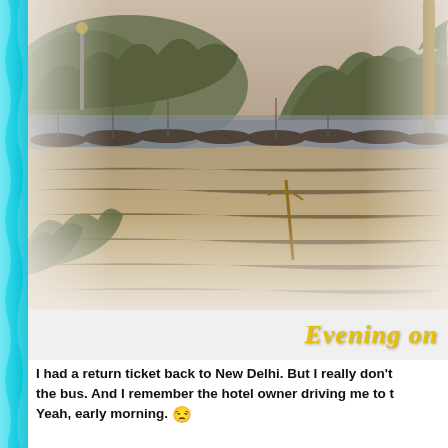[Figure (photo): Beach scene with fishing boats lined up near the water's edge, sandy beach in foreground, wooded hillside in background, sepia/vintage tone photo]
Evening on
I had a return ticket back to New Delhi. But I really don't remember the bus. And I remember the hotel owner driving me to t... Yeah, early morning. 😒

But I am off to Bangkok. I am on a British voyage d...